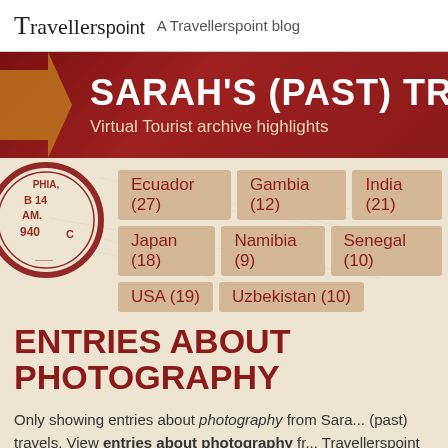Travellerspoint — A Travellerspoint blog
SARAH'S (PAST) TRAV
Virtual Tourist archive highlights
Ecuador (27)
Gambia (12)
India (21)
Japan (18)
Namibia (9)
Senegal (10)
USA (19)
Uzbekistan (10)
ENTRIES ABOUT PHOTOGRAPHY
Only showing entries about photography from Sarah's (past) travels. View entries about photography from Travellerspoint blogs.